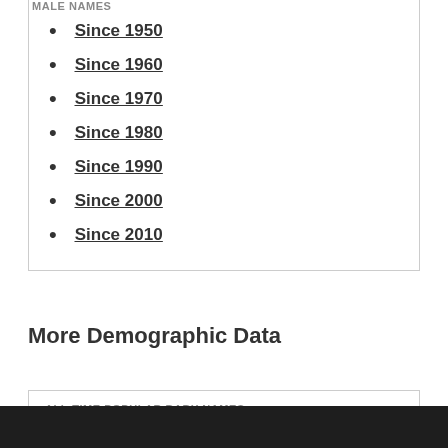MALE NAMES
Since 1950
Since 1960
Since 1970
Since 1980
Since 1990
Since 2000
Since 2010
More Demographic Data
ALL-TIME POPULAR BABY NAMES